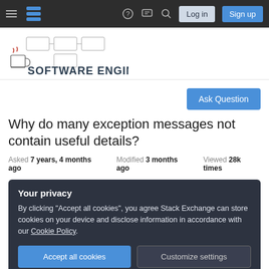Software Engineering Stack Exchange navigation bar with hamburger menu, logo, help, chat, search icons, Log in and Sign up buttons
[Figure (logo): Software Engineering Stack Exchange site logo with illustrated circuit board and coffee mug graphic, text reading SOFTWARE ENGINEERING]
Ask Question
Why do many exception messages not contain useful details?
Asked 7 years, 4 months ago   Modified 3 months ago   Viewed 28k times
Your privacy
By clicking "Accept all cookies", you agree Stack Exchange can store cookies on your device and disclose information in accordance with our Cookie Policy.
Accept all cookies   Customize settings
A few examples: